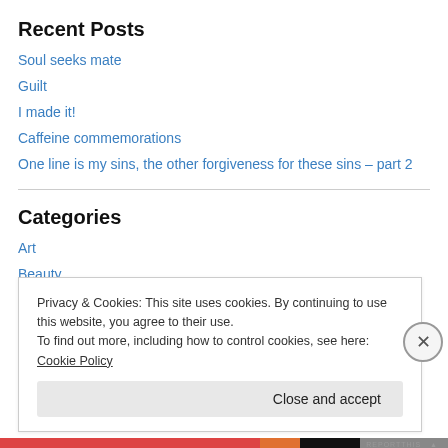Recent Posts
Soul seeks mate
Guilt
I made it!
Caffeine commemorations
One line is my sins, the other forgiveness for these sins – part 2
Categories
Art
Beauty
Privacy & Cookies: This site uses cookies. By continuing to use this website, you agree to their use.
To find out more, including how to control cookies, see here: Cookie Policy
Close and accept